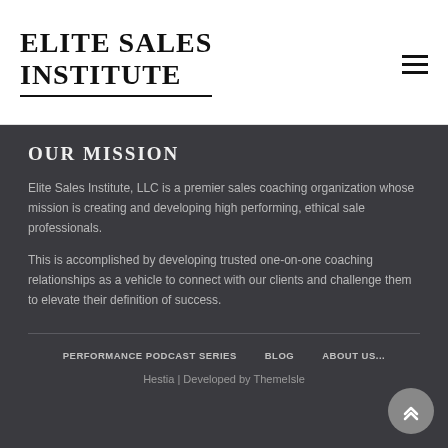ELITE SALES INSTITUTE
OUR MISSION
Elite Sales Institute, LLC is a premier sales coaching organization whose mission is creating and developing high performing, ethical sale professionals.
This is accomplished by developing trusted one-on-one coaching relationships as a vehicle to connect with our clients and challenge them to elevate their definition of success.
PERFORMANCE PODCAST SERIES   BLOG   ABOUT US...   Hestia | Developed by ThemeIsle